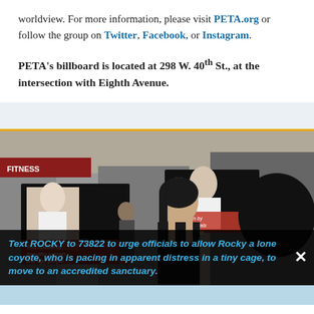worldview. For more information, please visit PETA.org or follow the group on Twitter, Facebook, or Instagram.
PETA's billboard is located at 298 W. 40th St., at the intersection with Eighth Avenue.
[Figure (photo): Outdoor protest scene showing a woman holding a PETA sign that reads 'This is worn by beautiful animals and ugly people.' Another similar sign is visible in the background. Urban street setting with storefronts visible.]
Text ROCKY to 73822 to urge officials to allow Rocky a lone coyote, who is pacing in apparent distress in a tiny cage, to move to an accredited sanctuary.